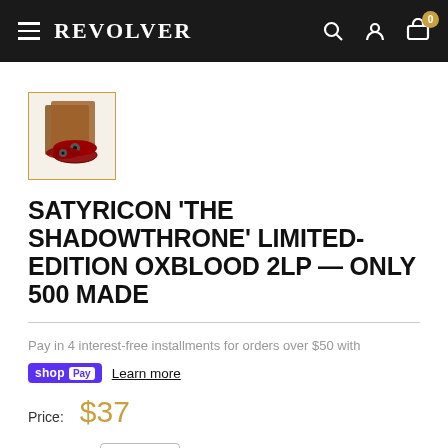REVOLVER
[Figure (photo): Thumbnail image of Satyricon 'The Shadowthrone' limited-edition oxblood 2LP vinyl record set with gold border]
SATYRICON 'THE SHADOWTHRONE' LIMITED-EDITION OXBLOOD 2LP — ONLY 500 MADE
Pay in 4 interest-free installments for orders over $50 with
shop Pay Learn more
Price: $37
Quantity: 1